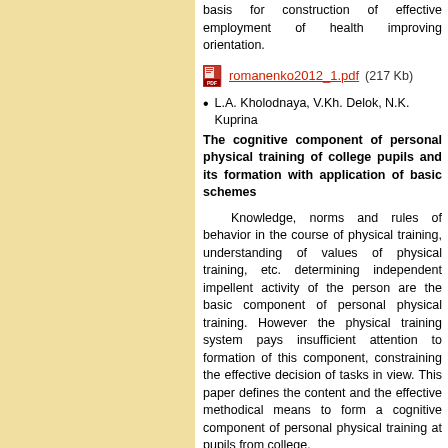basis for construction of effective employment of health improving orientation.
romanenko2012_1.pdf (217 Kb)
L.A. Kholodnaya, V.Kh. Delok, N.K. Kuprina
The cognitive component of personal physical training of college pupils and its formation with application of basic schemes
Knowledge, norms and rules of behavior in the course of physical training, understanding of values of physical training, etc. determining independent impellent activity of the person are the basic component of personal physical training. However the physical training system pays insufficient attention to formation of this component, constraining the effective decision of tasks in view. This paper defines the content and the effective methodical means to form a cognitive component of personal physical training at pupils from college.